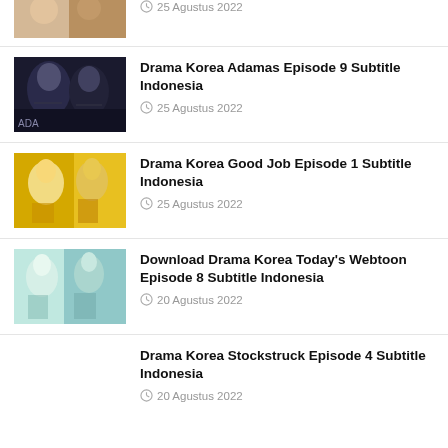[Figure (photo): Partial thumbnail of a Korean drama poster (top portion cut off)]
25 Agustus 2022
[Figure (photo): Thumbnail for Drama Korea Adamas Episode 9 - dark poster with actors]
Drama Korea Adamas Episode 9 Subtitle Indonesia
25 Agustus 2022
[Figure (photo): Thumbnail for Drama Korea Good Job Episode 1 - yellow background poster]
Drama Korea Good Job Episode 1 Subtitle Indonesia
25 Agustus 2022
[Figure (photo): Thumbnail for Download Drama Korea Today's Webtoon Episode 8 - teal/green tones]
Download Drama Korea Today's Webtoon Episode 8 Subtitle Indonesia
20 Agustus 2022
Drama Korea Stockstruck Episode 4 Subtitle Indonesia
20 Agustus 2022